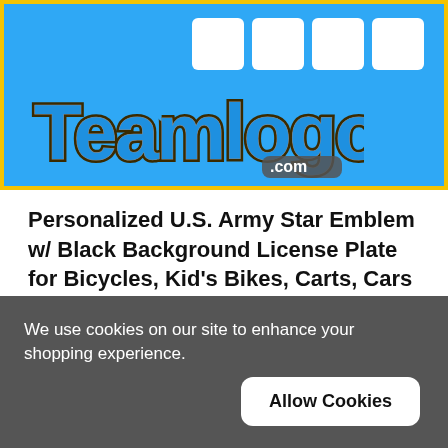[Figure (logo): Teamlogo.com logo on blue banner background with four white navigation squares in top right corner]
Personalized U.S. Army Star Emblem w/ Black Background License Plate for Bicycles, Kid's Bikes, Carts, Cars or Trucks (KLP-310)
We use cookies on our site to enhance your shopping experience.
Allow Cookies